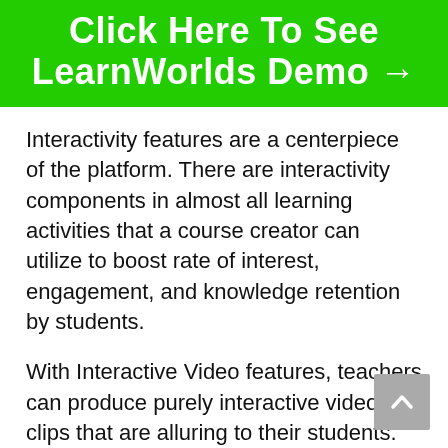[Figure (other): Green banner button with white bold text reading 'Click Here To See LearnWorlds Demo →']
Interactivity features are a centerpiece of the platform. There are interactivity components in almost all learning activities that a course creator can utilize to boost rate of interest, engagement, and knowledge retention by students.
With Interactive Video features, teachers can produce purely interactive video clips that are alluring to their students. Interactive video allows you to add inquiries, pop-ups, buttons, and other aspects to your video clips to make them